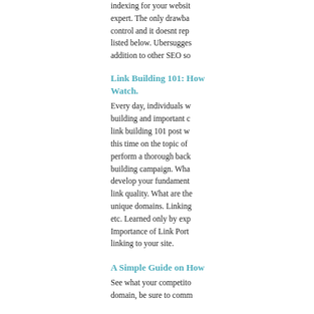indexing for your website expert. The only drawback control and it doesnt rep listed below. Ubersugges addition to other SEO so
Link Building 101: How Watch.
Every day, individuals w building and important c link building 101 post w this time on the topic of perform a thorough back building campaign. Wha develop your fundament link quality. What are th unique domains. Linking etc. Learned only by exp Importance of Link Port linking to your site.
A Simple Guide on How
See what your competito domain, be sure to comm